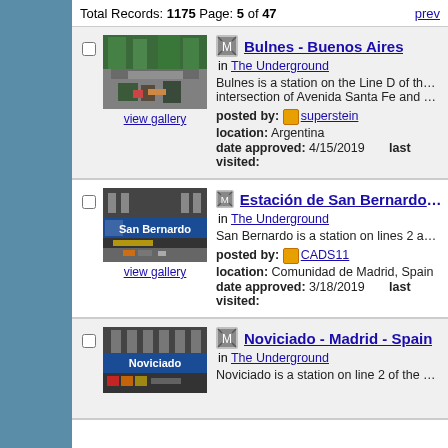Total Records: 1175 Page: 5 of 47   prev
[Figure (photo): Street-level photo of Bulnes station area in Buenos Aires, showing a tree-lined avenue with shops]
view gallery
Bulnes - Buenos Aires
in The Underground
Bulnes is a station on the Line D of the Buenos A intersection of Avenida Santa Fe and Bulnes Str
posted by: superstein
location: Argentina
date approved: 4/15/2019   last visited:
[Figure (photo): San Bernardo metro station interior showing blue platform sign reading 'San Bernardo' with Metro de Madrid signage]
view gallery
Estación de San Bernardo - Madrid
in The Underground
San Bernardo is a station on lines 2 and 4 of the
posted by: CADS11
location: Comunidad de Madrid, Spain
date approved: 3/18/2019   last visited:
[Figure (photo): Noviciado metro station showing blue platform sign reading 'Noviciado' with line indicators]
view gallery
Noviciado - Madrid - Spain
in The Underground
Noviciado is a station on line 2 of the Madrid me